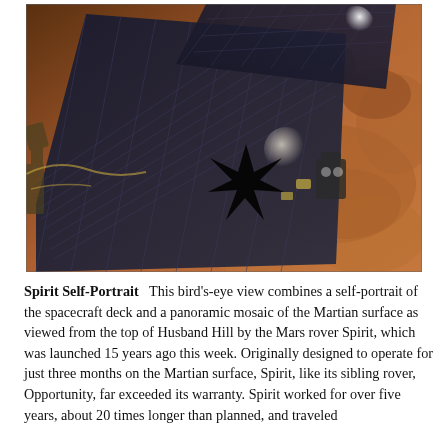[Figure (photo): Bird's-eye view photo combining a self-portrait of the Mars rover Spirit's spacecraft deck (solar panels visible with a black asterisk/star mark) and a panoramic mosaic of the reddish-brown Martian surface as viewed from the top of Husband Hill.]
Spirit Self-Portrait  This bird's-eye view combines a self-portrait of the spacecraft deck and a panoramic mosaic of the Martian surface as viewed from the top of Husband Hill by the Mars rover Spirit, which was launched 15 years ago this week. Originally designed to operate for just three months on the Martian surface, Spirit, like its sibling rover, Opportunity, far exceeded its warranty. Spirit worked for over five years, about 20 times longer than planned, and traveled